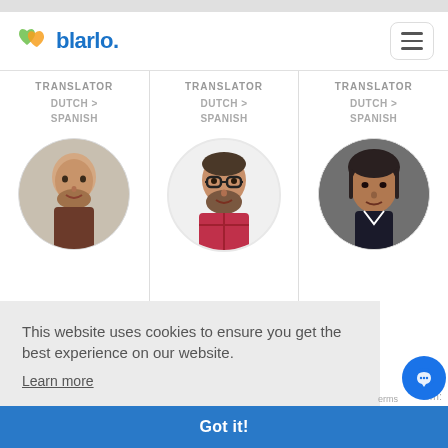blarlo. [logo] [hamburger menu button]
TRANSLATOR
DUTCH >
SPANISH
[Figure (photo): Circular avatar photo of a bald man with a beard wearing a brown top]
TRANSLATOR
DUTCH >
SPANISH
[Figure (photo): Circular avatar photo of a man with glasses and beard wearing a red plaid shirt]
TRANSLATOR
DUTCH >
SPANISH
[Figure (photo): Circular avatar photo of a dark-haired man in a dark jacket]
B.
om:
This website uses cookies to ensure you get the best experience on our website.
Learn more
Got it!